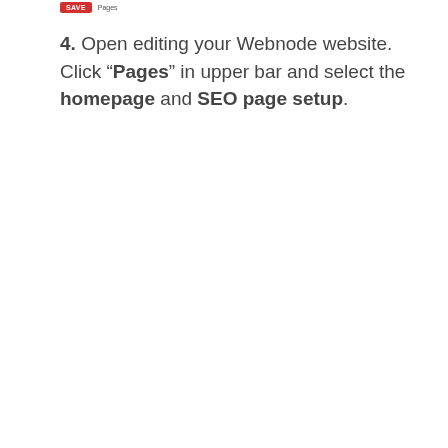[Figure (screenshot): Small UI screenshot showing a red 'SAVE' button and a 'Pages' tab element from a website editing toolbar]
4. Open editing your Webnode website. Click "Pages" in upper bar and select the homepage and SEO page setup.